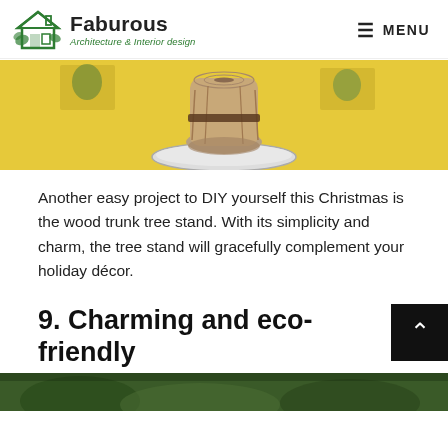[Figure (logo): Faburous Architecture & Interior design logo with green house icon]
[Figure (photo): Wood trunk tree stand on a plate with yellow background, artsy Christmas decor scene]
Another easy project to DIY yourself this Christmas is the wood trunk tree stand. With its simplicity and charm, the tree stand will gracefully complement your holiday décor.
9. Charming and eco-friendly
[Figure (photo): Bottom partial image strip, green outdoor scene]